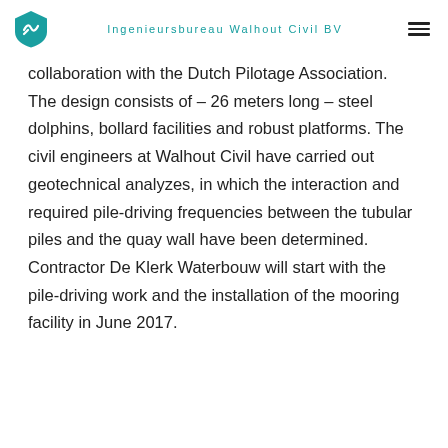Ingenieursbureau Walhout Civil BV
collaboration with the Dutch Pilotage Association. The design consists of – 26 meters long – steel dolphins, bollard facilities and robust platforms. The civil engineers at Walhout Civil have carried out geotechnical analyzes, in which the interaction and required pile-driving frequencies between the tubular piles and the quay wall have been determined. Contractor De Klerk Waterbouw will start with the pile-driving work and the installation of the mooring facility in June 2017.